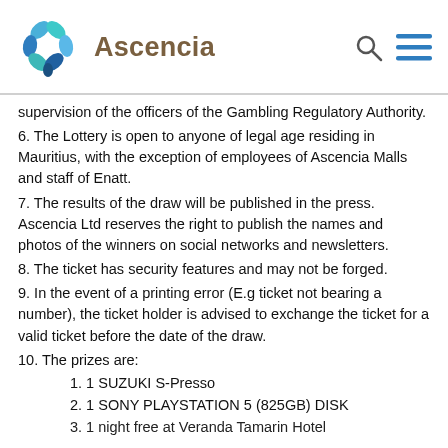Ascencia
supervision of the officers of the Gambling Regulatory Authority.
6. The Lottery is open to anyone of legal age residing in Mauritius, with the exception of employees of Ascencia Malls and staff of Enatt.
7. The results of the draw will be published in the press. Ascencia Ltd reserves the right to publish the names and photos of the winners on social networks and newsletters.
8. The ticket has security features and may not be forged.
9. In the event of a printing error (E.g ticket not bearing a number), the ticket holder is advised to exchange the ticket for a valid ticket before the date of the draw.
10. The prizes are:
1. 1 SUZUKI S-Presso
2. 1 SONY PLAYSTATION 5 (825GB) DISK
3. 1 night free at Veranda Tamarin Hotel